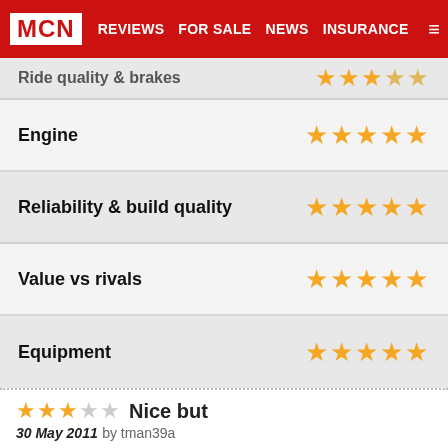MCN | REVIEWS | FOR SALE | NEWS | INSURANCE
Ride quality & brakes — 3 stars (partial, cut off)
Engine — 5 stars
Reliability & build quality — 5 stars
Value vs rivals — 5 stars
Equipment — 5 stars
Nice but
30 May 2011 by tman39a
Had a 30 min test ride on one of these and whilst the gadgets etc are great it was all spoilt by a dreadfulhigh frequency buzz in the bars at steady throttle....i could never commute or tour on this but i guess thats not what it was designed for....still